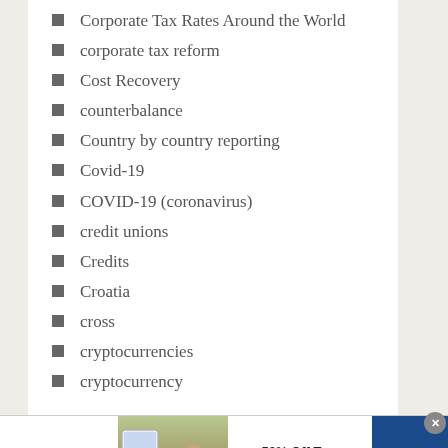Corporate Tax Rates Around the World
corporate tax reform
Cost Recovery
counterbalance
Country by country reporting
Covid-19
COVID-19 (coronavirus)
credit unions
Credits
Croatia
cross
cryptocurrencies
cryptocurrency
[Figure (other): SmartPak advertisement banner: 50% Off Two Months of ColiCare, ColiCare Eligible Supplements, CODE: COLICARE10, Shop Now button]